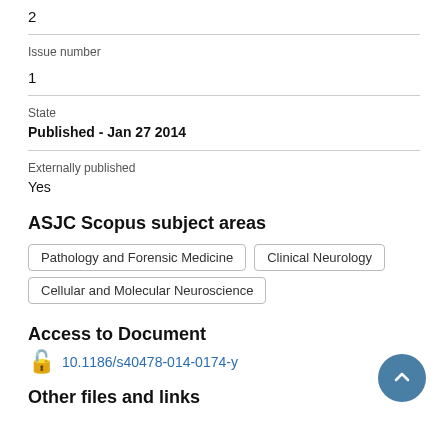2
Issue number
1
State
Published - Jan 27 2014
Externally published
Yes
ASJC Scopus subject areas
Pathology and Forensic Medicine
Clinical Neurology
Cellular and Molecular Neuroscience
Access to Document
10.1186/s40478-014-0174-y
Other files and links